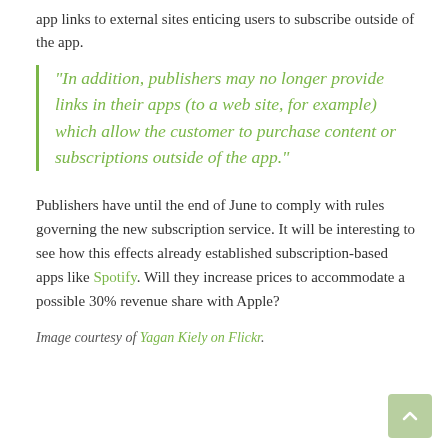app links to external sites enticing users to subscribe outside of the app.
“In addition, publishers may no longer provide links in their apps (to a web site, for example) which allow the customer to purchase content or subscriptions outside of the app.”
Publishers have until the end of June to comply with rules governing the new subscription service. It will be interesting to see how this effects already established subscription-based apps like Spotify. Will they increase prices to accommodate a possible 30% revenue share with Apple?
Image courtesy of Yagan Kiely on Flickr.